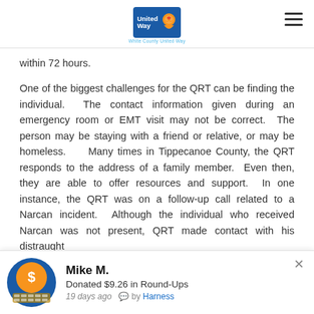United Way – White County United Way
within 72 hours.
One of the biggest challenges for the QRT can be finding the individual. The contact information given during an emergency room or EMT visit may not be correct. The person may be staying with a friend or relative, or may be homeless. Many times in Tippecanoe County, the QRT responds to the address of a family member. Even then, they are able to offer resources and support. In one instance, the QRT was on a follow-up call related to a Narcan incident. Although the individual who received Narcan was not present, QRT made contact with his distraught
Mike M.
Donated $9.26 in Round-Ups
19 days ago  by Harness